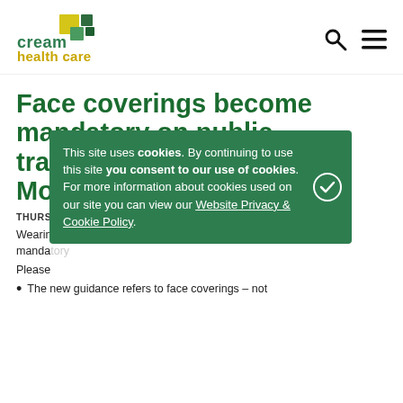[Figure (logo): Cream Health Care logo with green and yellow squares and green text]
Face coverings become mandatory on public transport in England from Monday June 15th
THURSDAY, JUNE 11, 2020
Wearing face coverings on public transport will be mandatory
Please
This site uses cookies. By continuing to use this site you consent to our use of cookies. For more information about cookies used on our site you can view our Website Privacy & Cookie Policy.
The new guidance refers to face coverings – not